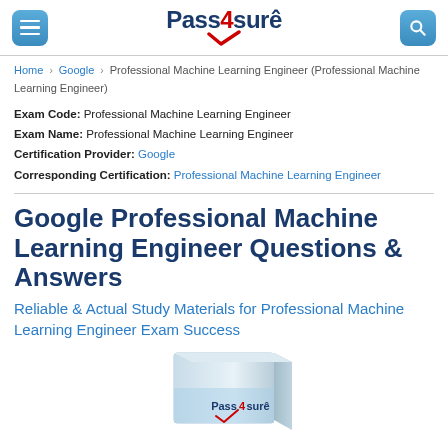Pass4sure
Home > Google > Professional Machine Learning Engineer (Professional Machine Learning Engineer)
Exam Code: Professional Machine Learning Engineer
Exam Name: Professional Machine Learning Engineer
Certification Provider: Google
Corresponding Certification: Professional Machine Learning Engineer
Google Professional Machine Learning Engineer Questions & Answers
Reliable & Actual Study Materials for Professional Machine Learning Engineer Exam Success
[Figure (logo): Pass4sure product box image with logo at bottom]